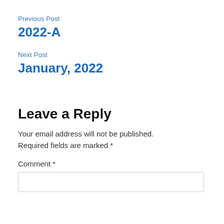Previous Post
2022-A
Next Post
January, 2022
Leave a Reply
Your email address will not be published. Required fields are marked *
Comment *